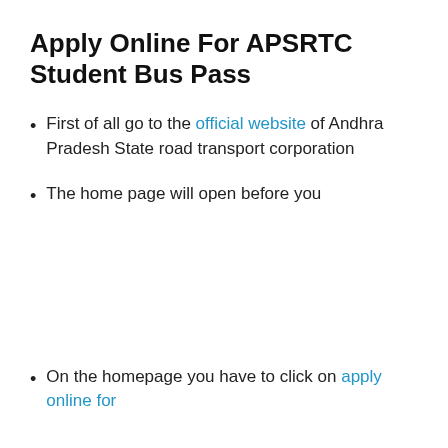Apply Online For APSRTC Student Bus Pass
First of all go to the official website of Andhra Pradesh State road transport corporation
The home page will open before you
On the homepage you have to click on apply online for